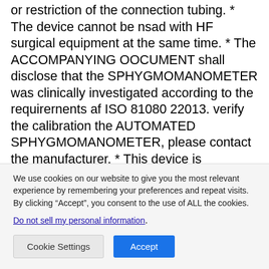or restriction of the connection tubing. * The device cannot be nsad with HF surgical equipment at the same time. * The ACCOMPANYING OOCUMENT shall disclose that the SPHYGMOMANOMETER was clinically investigated according to the requirernents af ISO 81080 22013. verify the calibration the AUTOMATED SPHYGMOMANOMETER, please contact the manufacturer. * This device is contraindicated for any female who may be suspected of, or is pregnant. Besides providing inaccurate readings, the effects aftiis device on tha fetus are unknown. * Too frequent and consecutive measurements could cause disturbances in blood circulation and injuries. * This unit is
We use cookies on our website to give you the most relevant experience by remembering your preferences and repeat visits. By clicking “Accept”, you consent to the use of ALL the cookies.
Do not sell my personal information.
Cookie Settings
Accept